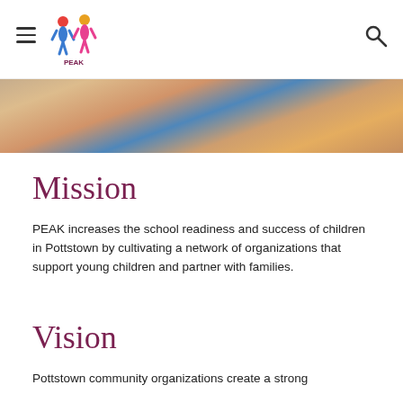PEAK [logo] [hamburger menu] [search icon]
[Figure (photo): Children at a table, cropped view showing hands and arms, one child in blue shirt, another in orange, with a blue book/tablet visible]
Mission
PEAK increases the school readiness and success of children in Pottstown by cultivating a network of organizations that support young children and partner with families.
Vision
Pottstown community organizations create a strong